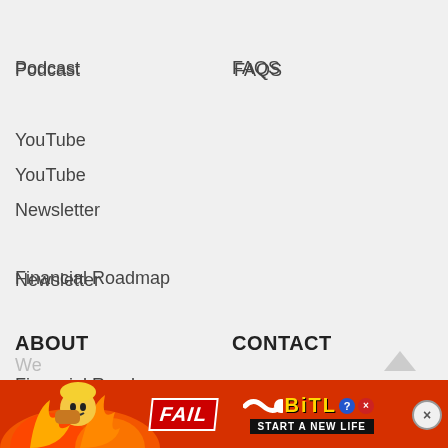Podcast
FAQS
YouTube
Newsletter
Financial Roadmap
ABOUT
CONTACT
About CGF
Contact Us
Founder Story
Partner With Us
Press
Speaking Info
We
[Figure (screenshot): BitLife mobile advertisement banner with 'FAIL' text and 'START A NEW LIFE' tagline]